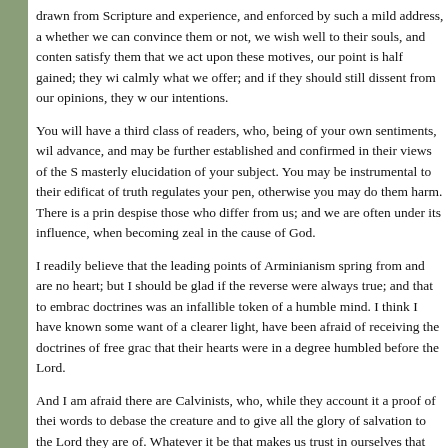drawn from Scripture and experience, and enforced by such a mild address, a whether we can convince them or not, we wish well to their souls, and conten satisfy them that we act upon these motives, our point is half gained; they wi calmly what we offer; and if they should still dissent from our opinions, they w our intentions.
You will have a third class of readers, who, being of your own sentiments, wil advance, and may be further established and confirmed in their views of the S masterly elucidation of your subject. You may be instrumental to their edificat of truth regulates your pen, otherwise you may do them harm. There is a prin despise those who differ from us; and we are often under its influence, when becoming zeal in the cause of God.
I readily believe that the leading points of Arminianism spring from and are no heart; but I should be glad if the reverse were always true; and that to embrac doctrines was an infallible token of a humble mind. I think I have known some want of a clearer light, have been afraid of receiving the doctrines of free grac that their hearts were in a degree humbled before the Lord.
And I am afraid there are Calvinists, who, while they account it a proof of thei words to debase the creature and to give all the glory of salvation to the Lord they are of. Whatever it be that makes us trust in ourselves that we are comp treat those with contempt who do not subscribe to our doctrines, or follow our righteous spirit. Self-righteousness can feed upon doctrines as well as upon